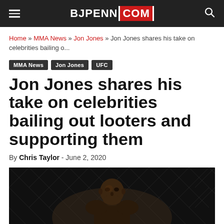BJPENN | COM
Home » MMA News » Jon Jones » Jon Jones shares his take on celebrities bailing o...
MMA News
Jon Jones
UFC
Jon Jones shares his take on celebrities bailing out looters and supporting them
By Chris Taylor - June 2, 2020
[Figure (photo): Jon Jones MMA fighter in dark UFC octagon setting, looking forward, shirtless, with chain-link fence visible in background]